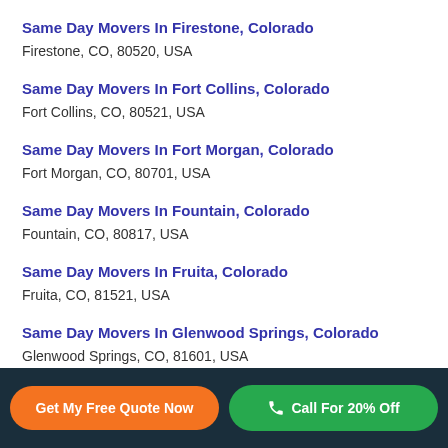Same Day Movers In Firestone, Colorado
Firestone, CO, 80520, USA
Same Day Movers In Fort Collins, Colorado
Fort Collins, CO, 80521, USA
Same Day Movers In Fort Morgan, Colorado
Fort Morgan, CO, 80701, USA
Same Day Movers In Fountain, Colorado
Fountain, CO, 80817, USA
Same Day Movers In Fruita, Colorado
Fruita, CO, 81521, USA
Same Day Movers In Glenwood Springs, Colorado
Glenwood Springs, CO, 81601, USA
Same Day Movers In Golden, Colorado
Get My Free Quote Now
Call For 20% Off